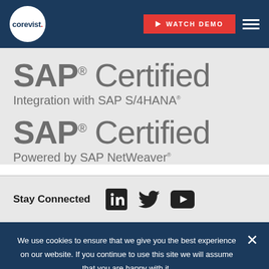[Figure (logo): Corevist logo: white circle with 'corevist.' text in dark navy, with red dot on the 'i']
[Figure (screenshot): Watch Demo button (red) and hamburger menu (white lines) on dark navy header]
SAP® Certified Integration with SAP S/4HANA®
SAP® Certified Powered by SAP NetWeaver®
Stay Connected
[Figure (infographic): Social media icons: LinkedIn, Twitter, YouTube]
We use cookies to ensure that we give you the best experience on our website. If you continue to use this site we will assume that you are happy with it.
Ok  Privacy policy